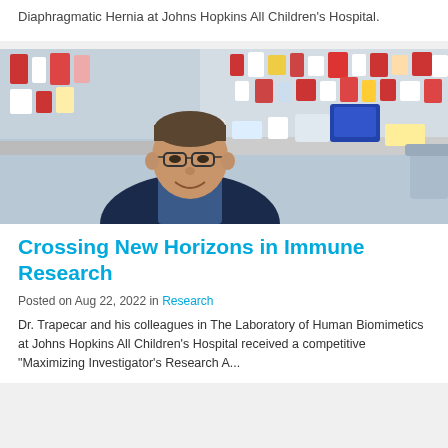Diaphragmatic Hernia at Johns Hopkins All Children's Hospital.
[Figure (photo): A man in a dark blazer smiling in a laboratory setting, surrounded by lab equipment, bottles, and shelving with supplies.]
Crossing New Horizons in Immune Research
Posted on Aug 22, 2022 in Research
Dr. Trapecar and his colleagues in The Laboratory of Human Biomimetics at Johns Hopkins All Children's Hospital received a competitive "Maximizing Investigator's Research Award" (MIRA) to help facilitate their research. The fi...